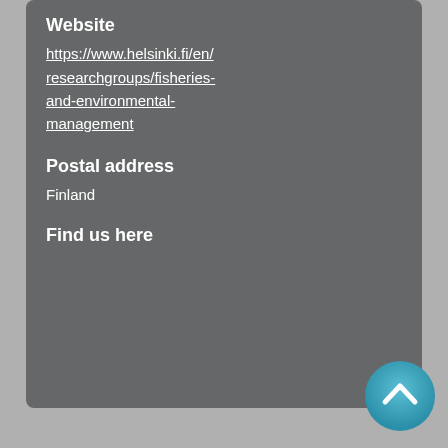Website
https://www.helsinki.fi/en/researchgroups/fisheries-and-environmental-management
Postal address
Finland
Find us here
[Figure (illustration): Teal circular scroll-to-top button with a white upward chevron arrow]